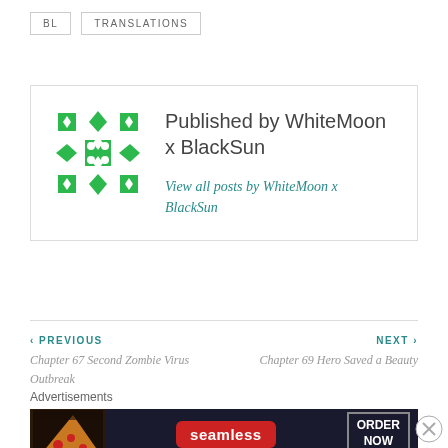BL
TRANSLATIONS
Published by WhiteMoon x BlackSun
View all posts by WhiteMoon x BlackSun
‹ PREVIOUS
Chapter 67 Second Zombie Virus Outbreak
NEXT ›
Chapter 69 Hero Saved a Beauty
Advertisements
[Figure (other): Seamless food delivery advertisement banner showing pizza image on left, red Seamless logo badge in center, and ORDER NOW button on right with dark background]